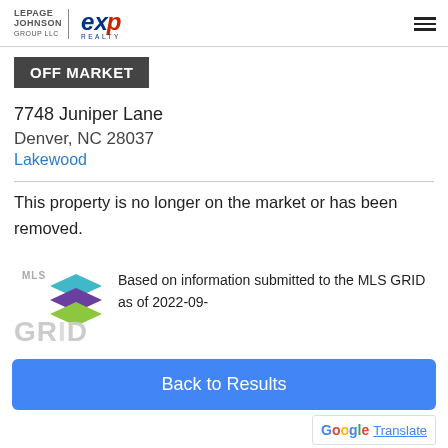LEPAGE | JOHNSON | eXp REALTY
OFF MARKET
7748 Juniper Lane
Denver, NC 28037
Lakewood
This property is no longer on the market or has been removed.
Based on information submitted to the MLS GRID as of 2022-09-
02T20:33:41.457 UTC. All data is...
Back to Results
G Translate